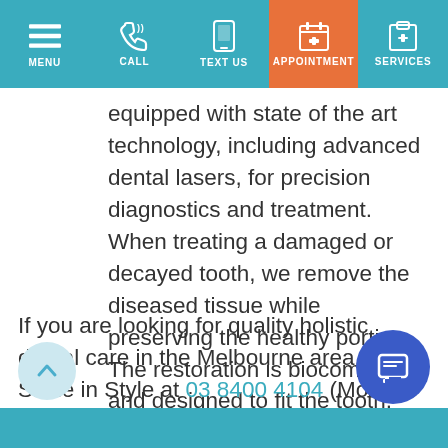MENU | CALL | TEXT US | APPOINTMENT | SERVICES
equipped with state of the art technology, including advanced dental lasers, for precision diagnostics and treatment. When treating a damaged or decayed tooth, we remove the diseased tissue while preserving the healthy portion. The restoration is biocompatible and designed to fit the tooth.
If you are looking for quality holistic dental care in the Melbourne area, call Smile in Style at 03 8400 4104 (Moonee Ponds) or 03 8001 6021 (Sunbury) and